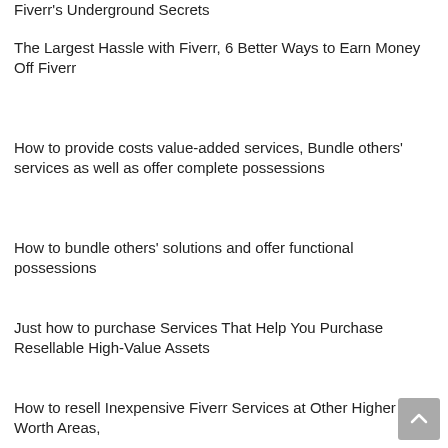Fiverr's Underground Secrets
The Largest Hassle with Fiverr, 6 Better Ways to Earn Money Off Fiverr
How to provide costs value-added services, Bundle others' services as well as offer complete possessions
How to bundle others' solutions and offer functional possessions
Just how to purchase Services That Help You Purchase Resellable High-Value Assets
How to resell Inexpensive Fiverr Services at Other Higher Worth Areas,